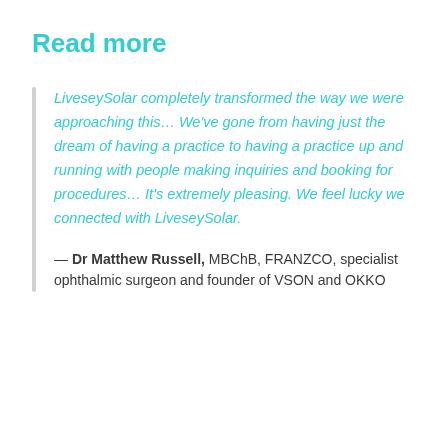Read more
LiveseySolar completely transformed the way we were approaching this… We've gone from having just the dream of having a practice to having a practice up and running with people making inquiries and booking for procedures… It's extremely pleasing. We feel lucky we connected with LiveseySolar.
— Dr Matthew Russell, MBChB, FRANZCO, specialist ophthalmic surgeon and founder of VSON and OKKO